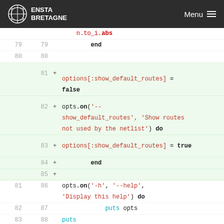ENSTA BRETAGNE — Menu
[Figure (screenshot): Code diff view showing Ruby code with line numbers, added lines highlighted in green, including options[:show_default_routes], opts.on, puts, and $description_string lines.]